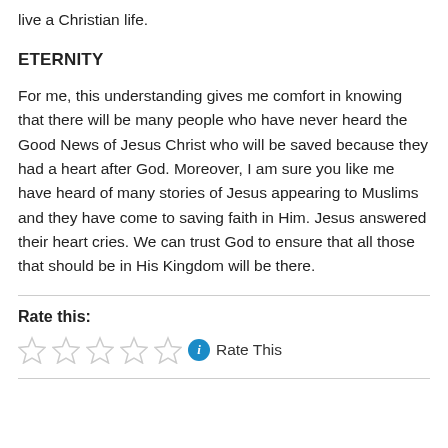live a Christian life.
ETERNITY
For me, this understanding gives me comfort in knowing that there will be many people who have never heard the Good News of Jesus Christ who will be saved because they had a heart after God. Moreover, I am sure you like me have heard of many stories of Jesus appearing to Muslims and they have come to saving faith in Him. Jesus answered their heart cries. We can trust God to ensure that all those that should be in His Kingdom will be there.
Rate this:
[Figure (other): Five empty star rating widgets followed by a blue info icon and the text 'Rate This']